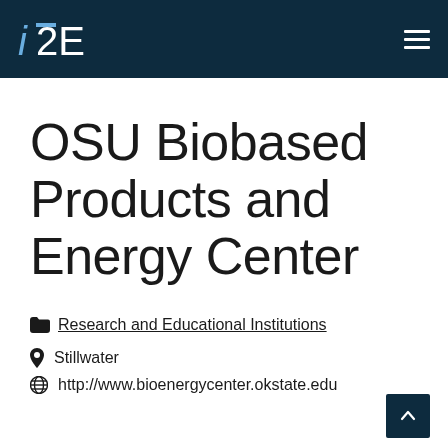i2E
OSU Biobased Products and Energy Center
Research and Educational Institutions
Stillwater
http://www.bioenergycenter.okstate.edu